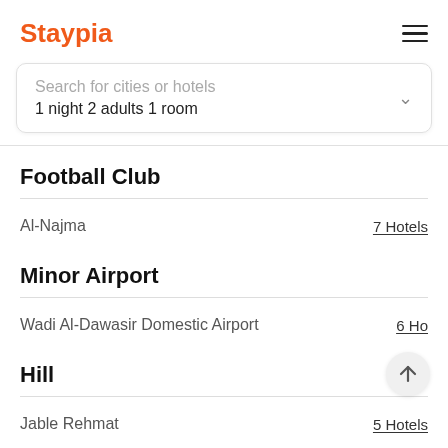Staypia
Search for cities or hotels
1 night 2 adults 1 room
Football Club
Al-Najma  7 Hotels
Minor Airport
Wadi Al-Dawasir Domestic Airport  6 Hotels
Hill
Jable Rehmat  5 Hotels